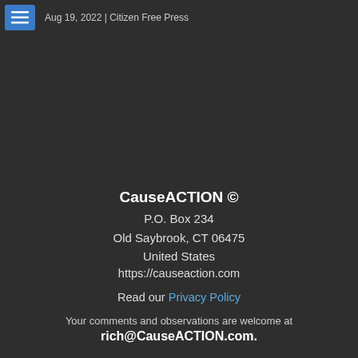Aug 19, 2022 | Citizen Free Press
CauseACTION ©
P.O. Box 234
Old Saybrook, CT 06475
United States
https://causeaction.com
Read our Privacy Policy
Your comments and observations are welcome at rich@CauseACTION.com.